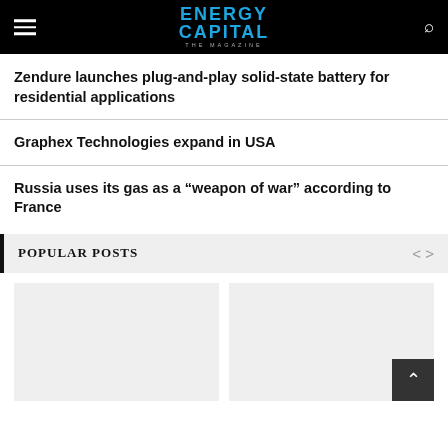ENERGY CAPITAL — THE MAGAZINE
Zendure launches plug-and-play solid-state battery for residential applications
Graphex Technologies expand in USA
Russia uses its gas as a “weapon of war” according to France
POPULAR POSTS
[Figure (photo): Placeholder image card 1 in popular posts section]
[Figure (photo): Placeholder image card 2 in popular posts section with back-to-top button]